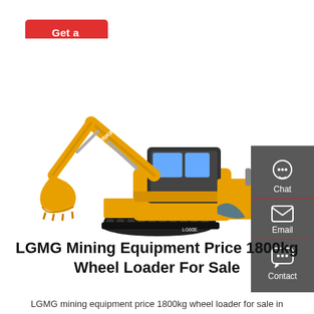Get a quote
[Figure (photo): Yellow Lonking mini excavator / crawler excavator with boom, arm, and bucket extended, shown on white background. Brand label reads LONKING on the arm.]
Chat
Email
Contact
LGMG Mining Equipment Price 1800kg Wheel Loader For Sale
LGMG mining equipment price 1800kg wheel loader for sale in